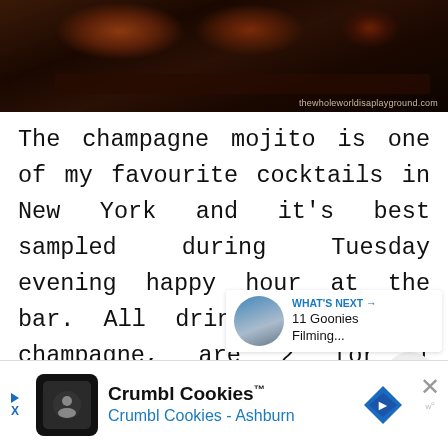[Figure (photo): Dark interior bar/lounge scene with cushioned seating, warm dark tones. Watermark reads 'thewholeworldisaplayground.com']
The champagne mojito is one of my favourite cocktails in New York and it's best sampled during Tuesday evening happy hour at the bar. All drinks, including champagne, are 2 for 1 between 5pm and 8pm.
[Figure (screenshot): Share button circle icon with share/network symbol]
[Figure (screenshot): What's Next widget showing thumbnail and text '11 Goonies Filming...']
[Figure (screenshot): Advertisement bar: Crumbl Cookies - Crumbl Cookies Ashburn]